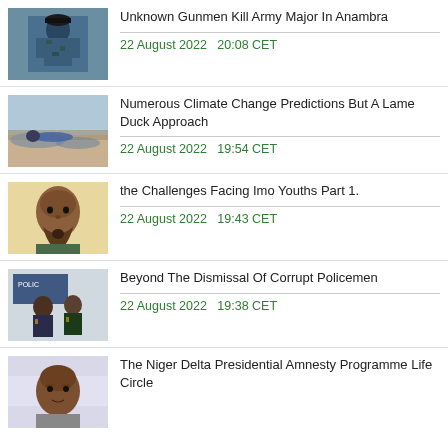Unknown Gunmen Kill Army Major In Anambra — 22 August 2022  20:08 CET
Numerous Climate Change Predictions But A Lame Duck Approach — 22 August 2022  19:54 CET
the Challenges Facing Imo Youths Part 1. — 22 August 2022  19:43 CET
Beyond The Dismissal Of Corrupt Policemen — 22 August 2022  19:38 CET
The Niger Delta Presidential Amnesty Programme Life Circle